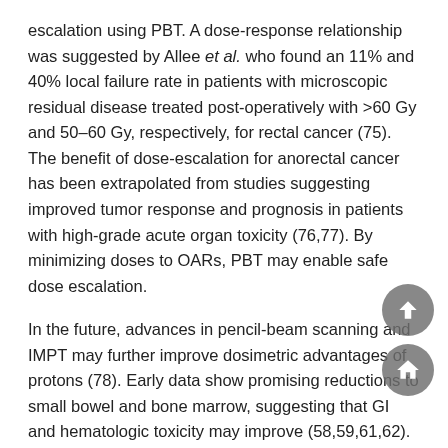escalation using PBT. A dose-response relationship was suggested by Allee et al. who found an 11% and 40% local failure rate in patients with microscopic residual disease treated post-operatively with >60 Gy and 50–60 Gy, respectively, for rectal cancer (75). The benefit of dose-escalation for anorectal cancer has been extrapolated from studies suggesting improved tumor response and prognosis in patients with high-grade acute organ toxicity (76,77). By minimizing doses to OARs, PBT may enable safe dose escalation.
In the future, advances in pencil-beam scanning and IMPT may further improve dosimetric advantages of protons (78). Early data show promising reductions to small bowel and bone marrow, suggesting that GI and hematologic toxicity may improve (58,59,61,62). Modeling by Meier et al. shows reduction in grade 3+ hematologic toxicity with IMPT, as implied by other treatment-planning studies (62,63). Long-term clinical studies will be needed to discern the incremental benefit offered by these